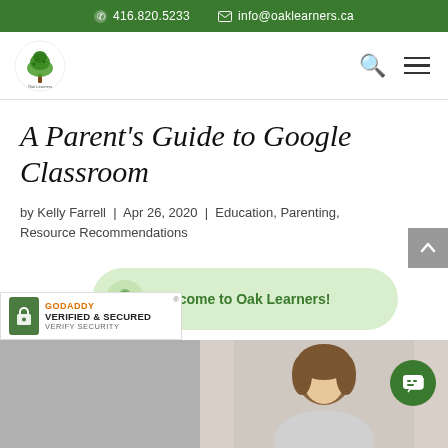📞 416.820.5233   ✉ info@oaklearners.ca
[Figure (logo): Oak Learners tree logo — circular green tree illustration with brown trunk]
A Parent's Guide to Google Classroom
by Kelly Farrell | Apr 26, 2020 | Education, Parenting, Resource Recommendations
[Figure (illustration): Light green rounded bubble popup reading 'Welcome to Oak Learners!' with Oak Learners tree icon on left]
[Figure (photo): Partial photograph of a woman looking downward, and a second grey photo area to the left, visible at the bottom of the page]
[Figure (logo): GoDaddy Verified & Secured badge with lock icon, orange GoDaddy text, and 'VERIFY SECURITY' text]